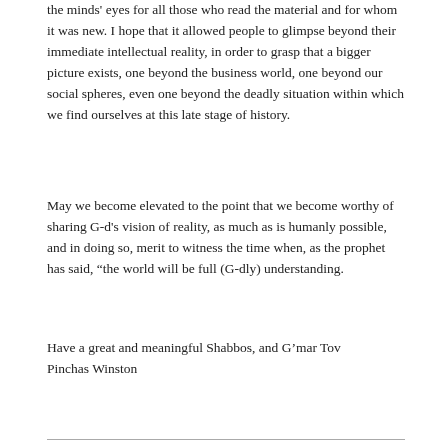the minds' eyes for all those who read the material and for whom it was new. I hope that it allowed people to glimpse beyond their immediate intellectual reality, in order to grasp that a bigger picture exists, one beyond the business world, one beyond our social spheres, even one beyond the deadly situation within which we find ourselves at this late stage of history.
May we become elevated to the point that we become worthy of sharing G-d's vision of reality, as much as is humanly possible, and in doing so, merit to witness the time when, as the prophet has said, “the world will be full (G-dly) understanding.
Have a great and meaningful Shabbos, and G’mar Tov
Pinchas Winston